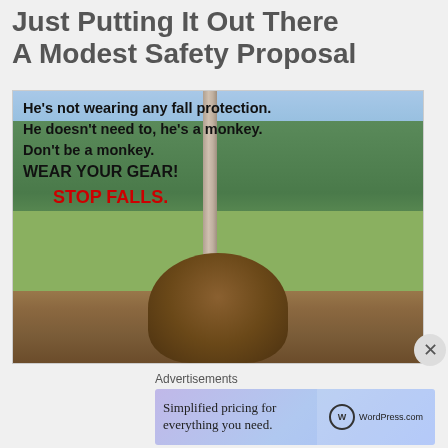Just Putting It Out There
A Modest Safety Proposal
[Figure (photo): Photo of a monkey sitting on a high vantage point with a city and hills in the background, overlaid with safety text: "He's not wearing any fall protection. He doesn't need to, he's a monkey. Don't be a monkey. WEAR YOUR GEAR! STOP FALLS."]
Advertisements
[Figure (infographic): WordPress.com advertisement banner with text 'Simplified pricing for everything you need.' and WordPress.com logo on gradient background.]